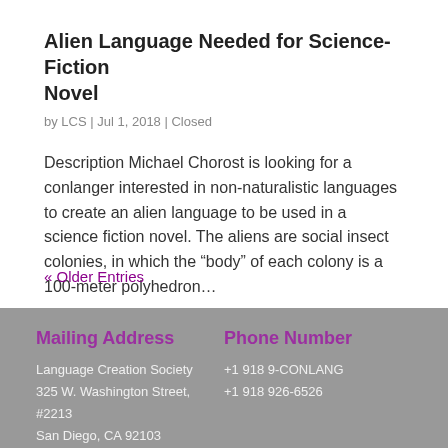Alien Language Needed for Science-Fiction Novel
by LCS | Jul 1, 2018 | Closed
Description Michael Chorost is looking for a conlanger interested in non-naturalistic languages to create an alien language to be used in a science fiction novel. The aliens are social insect colonies, in which the “body” of each colony is a 100-meter polyhedron…
« Older Entries
Mailing Address
Phone Number
Language Creation Society
+1 918 9-CONLANG
325 W. Washington Street, #2213
+1 918 926-6526
San Diego, CA 92103